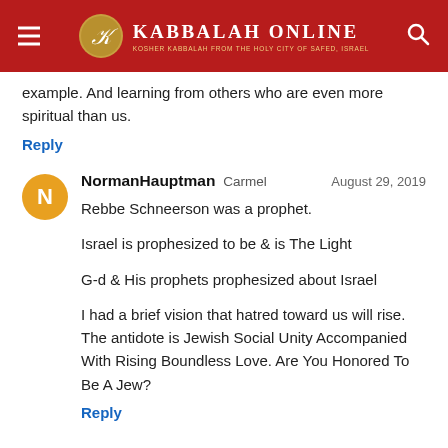Kabbalah Online — Kosher Kabbalah From The Holy City Of Safed, Israel
example. And learning from others who are even more spiritual than us.
Reply
NormanHauptman   Carmel   August 29, 2019

Rebbe Schneerson was a prophet.

Israel is prophesized to be & is The Light

G-d & His prophets prophesized about Israel

I had a brief vision that hatred toward us will rise. The antidote is Jewish Social Unity Accompanied With Rising Boundless Love. Are You Honored To Be A Jew?

Reply